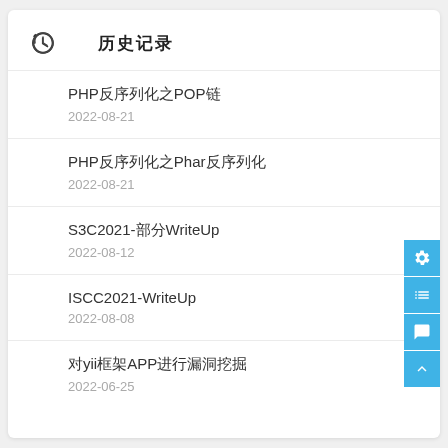历史记录
PHP反序列化之POP链
2022-08-21
PHP反序列化之Phar反序列化
2022-08-21
S3C2021-部分WriteUp
2022-08-12
ISCC2021-WriteUp
2022-08-08
对yii框架APP进行漏洞挖掘
2022-06-25